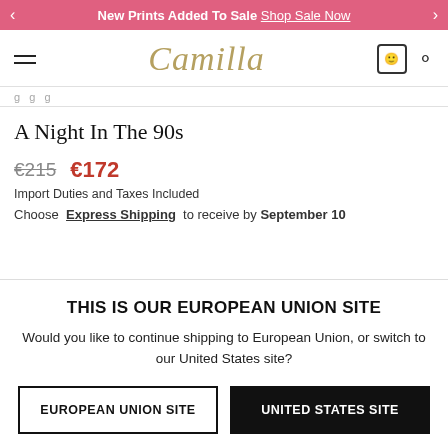New Prints Added To Sale Shop Sale Now
[Figure (logo): Camilla brand logo in gold italic script font]
A Night In The 90s
€215  €172
Import Duties and Taxes Included
Choose Express Shipping to receive by September 10
THIS IS OUR EUROPEAN UNION SITE
Would you like to continue shipping to European Union, or switch to our United States site?
EUROPEAN UNION SITE
UNITED STATES SITE